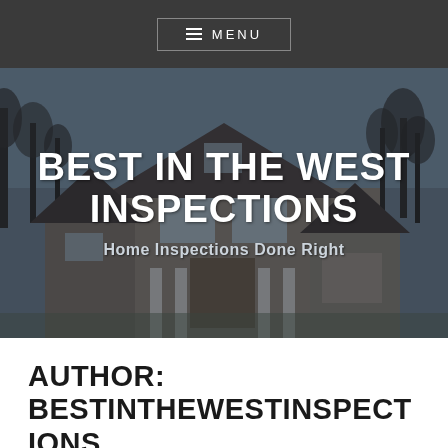≡ MENU
[Figure (photo): Hero banner showing a large two-story brick house with bare trees in the background, overlaid with text 'BEST IN THE WEST INSPECTIONS' and subtitle 'Home Inspections Done Right']
BEST IN THE WEST INSPECTIONS
Home Inspections Done Right
AUTHOR: BESTINTHEWESTINSPECTIONS